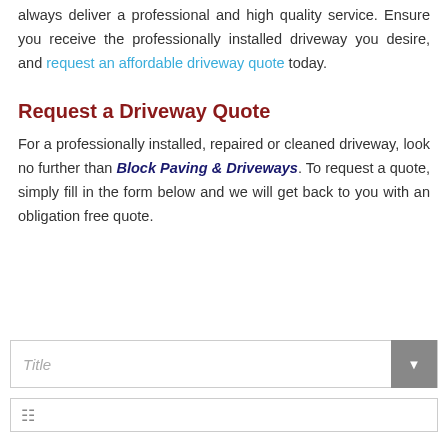always deliver a professional and high quality service. Ensure you receive the professionally installed driveway you desire, and request an affordable driveway quote today.
Request a Driveway Quote
For a professionally installed, repaired or cleaned driveway, look no further than Block Paving & Driveways. To request a quote, simply fill in the form below and we will get back to you with an obligation free quote.
[Figure (other): A web form with a Title dropdown field and a partially visible second field below it]